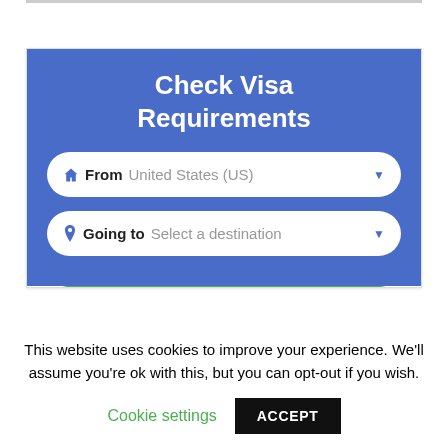[Figure (screenshot): A web UI widget for checking visa requirements. Blue background with title 'Check Visa Requirements', two dropdown fields ('From: United States (US)' and 'Going to: Select a destination'), and a partially visible green 'Check Document Requirement' button.]
This website uses cookies to improve your experience. We'll assume you're ok with this, but you can opt-out if you wish.
Cookie settings  ACCEPT